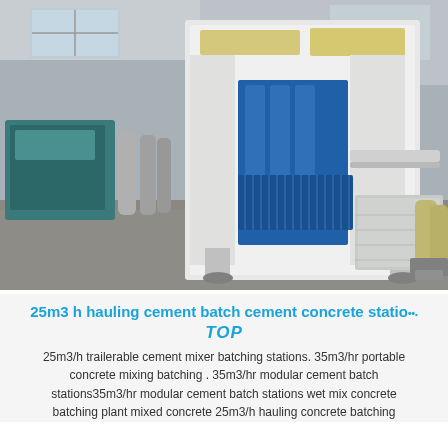[Figure (photo): Industrial photo of a large white and blue concrete batching machine/block machine inside a warehouse/factory. Blue hydraulic mechanisms are visible. Teal industrial equipment, gas cylinders, and concrete blocks are visible in the background.]
25m3 h hauling cement batch cement concrete station
25m3/h trailerable cement mixer batching stations. 35m3/hr portable concrete mixing batching . 35m3/hr modular cement batch stations35m3/hr modular cement batch stations wet mix concrete batching plant mixed concrete 25m3/h hauling concrete batching